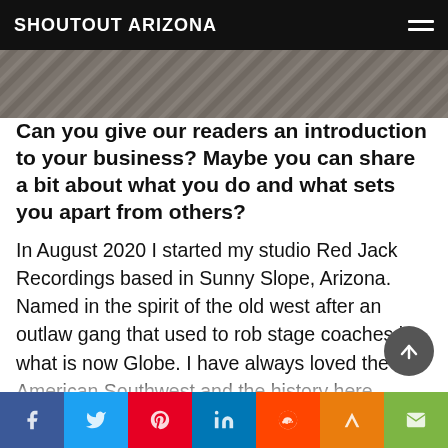SHOUTOUT ARIZONA
[Figure (photo): Partial hero image showing a patterned fabric/textile background]
Can you give our readers an introduction to your business? Maybe you can share a bit about what you do and what sets you apart from others?
In August 2020 I started my studio Red Jack Recordings based in Sunny Slope, Arizona. Named in the spirit of the old west after an outlaw gang that used to rob stage coaches in what is now Globe. I have always loved the American Southwest and the history here. Arizona has always been such an outlaw state to me. You can’t really put us into a box. We’re not California and were not Texas, but we kinda got a bit of both. It seemed s...